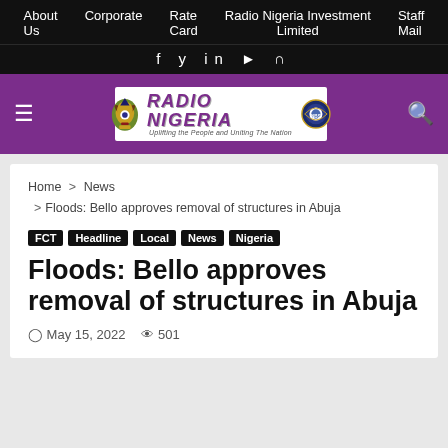About Us   Corporate   Rate Card   Radio Nigeria Investment Limited   Staff Mail
f  y  in  ▶  ⊃  (social icons)
[Figure (logo): Radio Nigeria logo bar with purple background, hamburger menu, Radio Nigeria logo with crest and seal, search icon]
Home > News > Floods: Bello approves removal of structures in Abuja
FCT
Headline
Local
News
Nigeria
Floods: Bello approves removal of structures in Abuja
May 15, 2022   501